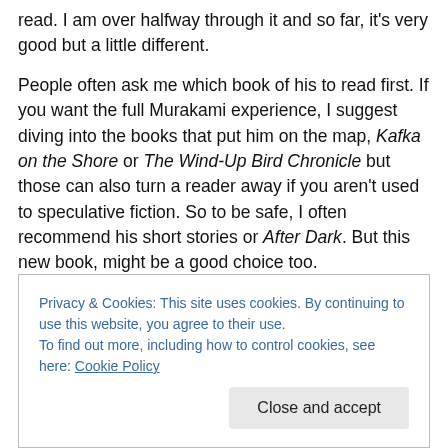read. I am over halfway through it and so far, it's very good but a little different.
People often ask me which book of his to read first. If you want the full Murakami experience, I suggest diving into the books that put him on the map, Kafka on the Shore or The Wind-Up Bird Chronicle but those can also turn a reader away if you aren't used to speculative fiction. So to be safe, I often recommend his short stories or After Dark. But this new book, might be a good choice too.
I also finished Peter Heller's The Painter. Very, very good I
Privacy & Cookies: This site uses cookies. By continuing to use this website, you agree to their use.
To find out more, including how to control cookies, see here: Cookie Policy